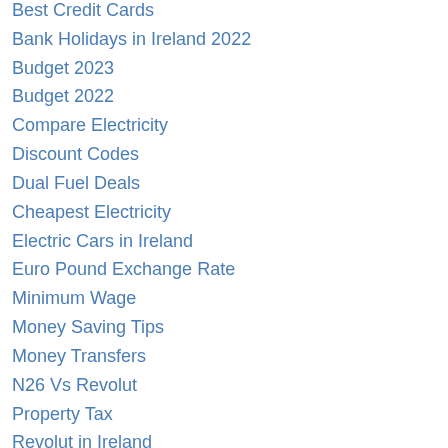Best Credit Cards
Bank Holidays in Ireland 2022
Budget 2023
Budget 2022
Compare Electricity
Discount Codes
Dual Fuel Deals
Cheapest Electricity
Electric Cars in Ireland
Euro Pound Exchange Rate
Minimum Wage
Money Saving Tips
Money Transfers
N26 Vs Revolut
Property Tax
Revolut in Ireland
Send Money To The UK.
Stocks and Shares
Switching Mortgage
Investing